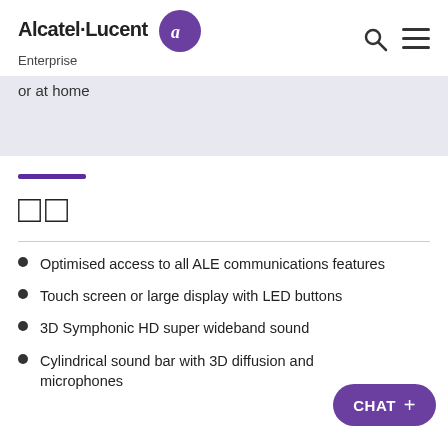Alcatel·Lucent Enterprise
or at home
[Figure (other): Purple decorative accent bar]
□□
Optimised access to all ALE communications features
Touch screen or large display with LED buttons
3D Symphonic HD super wideband sound
Cylindrical sound bar with 3D diffusion and microphones